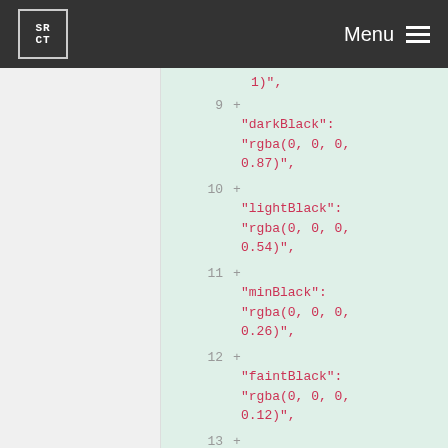SRCT Menu
[Figure (screenshot): Code diff view showing JSON color definitions with line numbers 9-13 on green background. Lines show added entries: darkBlack: rgba(0,0,0,0.87), lightBlack: rgba(0,0,0,0.54), minBlack: rgba(0,0,0,0.26), faintBlack: rgba(0,0,0,0.12), fullWhite: rgba(255,...]